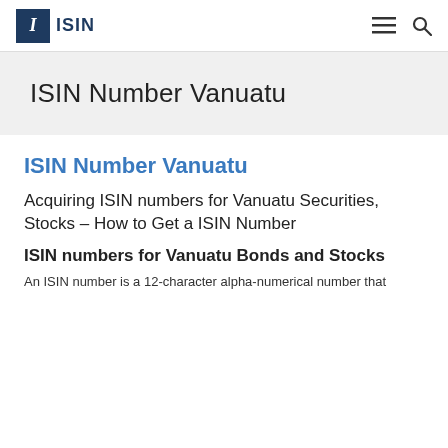ISIN
ISIN Number Vanuatu
ISIN Number Vanuatu
Acquiring ISIN numbers for Vanuatu Securities, Stocks – How to Get a ISIN Number
ISIN numbers for Vanuatu Bonds and Stocks
An ISIN number is a 12-character alpha-numerical number that